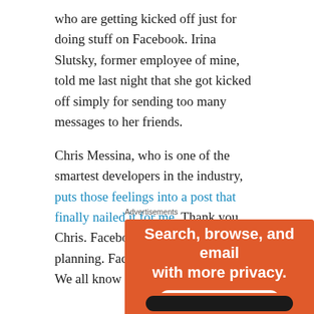who are getting kicked off just for doing stuff on Facebook. Irina Slutsky, former employee of mine, told me last night that she got kicked off simply for sending too many messages to her friends.
Chris Messina, who is one of the smartest developers in the industry, puts those feelings into a post that finally nailed it for me. Thank you Chris. Facebook=centralized planning. Facebook=Soviet Russia. We all know how that turned out!
Advertisements
[Figure (infographic): Orange advertisement banner reading 'Search, browse, and email with more privacy. All in One Free App' with a white rounded button and phone graphic at bottom.]